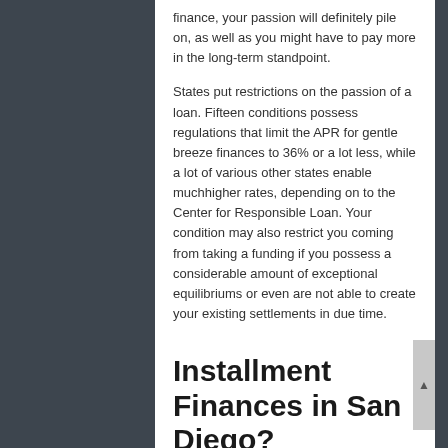finance, your passion will definitely pile on, as well as you might have to pay more in the long-term standpoint.
States put restrictions on the passion of a loan. Fifteen conditions possess regulations that limit the APR for gentle breeze finances to 36% or a lot less, while a lot of various other states enable muchhigher rates, depending on to the Center for Responsible Loan. Your condition may also restrict you coming from taking a funding if you possess a considerable amount of exceptional equilibriums or even are not able to create your existing settlements in due time.
Installment Finances in San Diego?